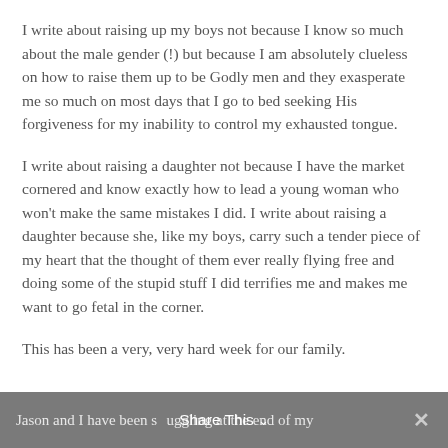I write about raising up my boys not because I know so much about the male gender (!) but because I am absolutely clueless on how to raise them up to be Godly men and they exasperate me so much on most days that I go to bed seeking His forgiveness for my inability to control my exhausted tongue.
I write about raising a daughter not because I have the market cornered and know exactly how to lead a young woman who won't make the same mistakes I did. I write about raising a daughter because she, like my boys, carry such a tender piece of my heart that the thought of them ever really flying free and doing some of the stupid stuff I did terrifies me and makes me want to go fetal in the corner.
This has been a very, very hard week for our family.
Jason and I have been struggling at the end of my